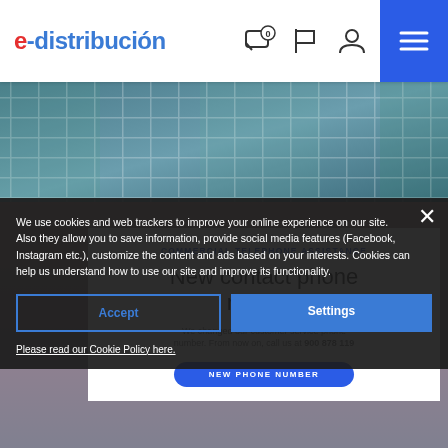e-distribución
[Figure (photo): Building facade with glass windows and reflections, hero banner image]
COMMERCIAL TELEPHONE ASSISTANCE
New contact phone number
We changed our customer service phone number. From now on, call us at 900 878 119
NEW PHONE NUMBER
We use cookies and web trackers to improve your online experience on our site. Also they allow you to save information, provide social media features (Facebook, Instagram etc.), customize the content and ads based on your interests. Cookies can help us understand how to use our site and improve its functionality.
Accept
Settings
Please read our Cookie Policy here.